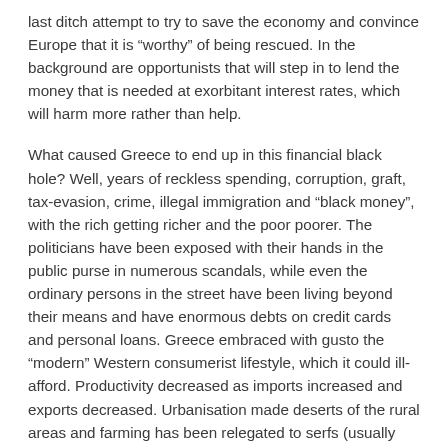last ditch attempt to try to save the economy and convince Europe that it is “worthy” of being rescued. In the background are opportunists that will step in to lend the money that is needed at exorbitant interest rates, which will harm more rather than help.
What caused Greece to end up in this financial black hole? Well, years of reckless spending, corruption, graft, tax-evasion, crime, illegal immigration and “black money”, with the rich getting richer and the poor poorer. The politicians have been exposed with their hands in the public purse in numerous scandals, while even the ordinary persons in the street have been living beyond their means and have enormous debts on credit cards and personal loans. Greece embraced with gusto the “modern” Western consumerist lifestyle, which it could ill-afford. Productivity decreased as imports increased and exports decreased. Urbanisation made deserts of the rural areas and farming has been relegated to serfs (usually illegal immigrants) who are usually taken advantage of. Greeks have been spending money they do not have and have been celebrating with gusto their decadence. Surely such a situation is not tenable…